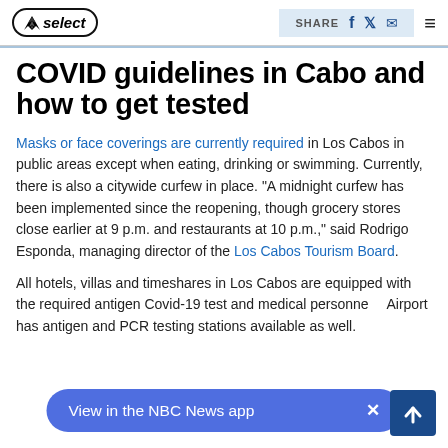NBC Select | SHARE | menu
COVID guidelines in Cabo and how to get tested
Masks or face coverings are currently required in Los Cabos in public areas except when eating, drinking or swimming. Currently, there is also a citywide curfew in place. “A midnight curfew has been implemented since the reopening, though grocery stores close earlier at 9 p.m. and restaurants at 10 p.m.,” said Rodrigo Esponda, managing director of the Los Cabos Tourism Board.
All hotels, villas and timeshares in Los Cabos are equipped with the required antigen Covid-19 test and medical personnel... Airport has antigen and PCR testing stations available as well.